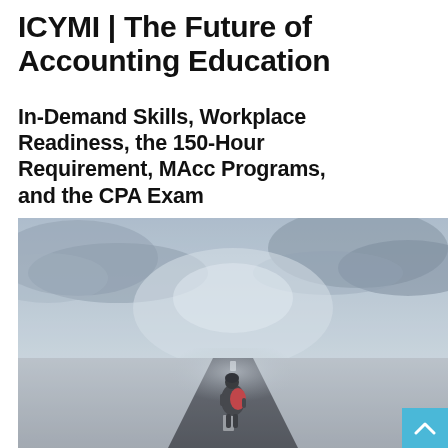ICYMI | The Future of Accounting Education
In-Demand Skills, Workplace Readiness, the 150-Hour Requirement, MAcc Programs, and the CPA Exam
[Figure (photo): A person with a red backpack standing at the start of a long road disappearing into foggy distance, viewed from behind, dramatic cloudy sky overhead]